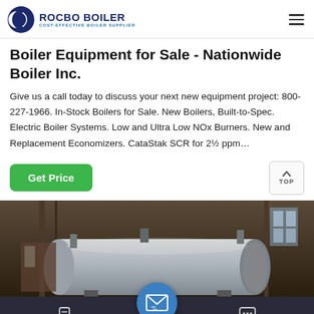[Figure (logo): Rocbo Boiler logo with crescent moon icon and text 'ROCBO BOILER / COST-EFFECTIVE BOILER SUPPLIER']
Boiler Equipment for Sale - Nationwide Boiler Inc.
Give us a call today to discuss your next new equipment project: 800-227-1966. In-Stock Boilers for Sale. New Boilers, Built-to-Spec. Electric Boiler Systems. Low and Ultra Low NOx Burners. New and Replacement Economizers. CataStak SCR for 2½ ppm…
[Figure (photo): Industrial boiler equipment photo showing large cylindrical boiler tank inside a factory/warehouse setting]
[Figure (screenshot): Bottom navigation bar with Send Message, email icon (center blue circle), and Inquiry Online buttons on dark background]